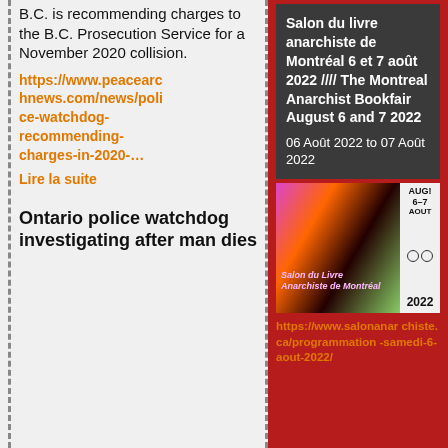B.C. is recommending charges to the B.C. Prosecution Service for a November 2020 collision.
https://www.peacearchnews.com/news/police-watchdog-recommending-charges-in-2020-… Lire la suite
Ontario police watchdog investigating after man dies
[Figure (infographic): Montreal Anarchist Bookfair event card with dark background, showing event title in French and English, and date range 06 Août 2022 to 07 Août 2022]
https://www.salonanarchiste.ca/programmation-samedi-6-aout-2022/